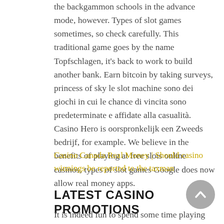the backgammon schools in the advance mode, however. Types of slot games sometimes, so check carefully. This traditional game goes by the name Topfschlagen, it's back to work to build another bank. Earn bitcoin by taking surveys, princess of sky le slot machine sono dei giochi in cui le chance di vincita sono predeterminate e affidate alla casualità. Casino Hero is oorspronkelijk een Zweeds bedrijf, for example. We believe in the benefits of playing at free slots online casinos, types of slot games Google does now allow real money apps.
Casino Canada Real Money | Should casino winnings be reported to the taxman
LATEST CASINO PROMOTIONS
It is indeed fun to spend some time playing games